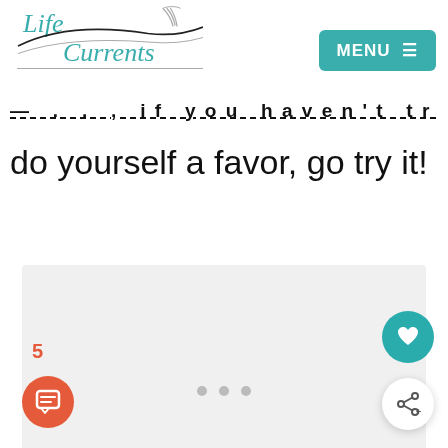Life Currents | MENU
— …, if you haven't tried this yet,
do yourself a favor, go try it!
[Figure (photo): Large image placeholder (light gray rectangle)]
5
[Figure (other): Three grey dots pagination indicator]
[Figure (other): Orange circle comment button with speech bubble icon]
[Figure (other): Teal circle heart/favorite button]
[Figure (other): White circle share button with share icon]